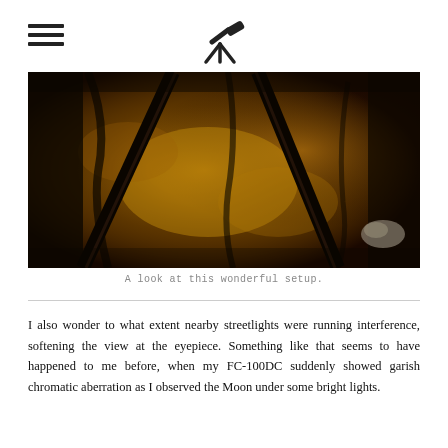[hamburger menu icon] [telescope logo icon]
[Figure (photo): Close-up photograph of a telescope tripod setup on a textured ground, shot from above, showing dark metallic tripod legs against a warm brown/golden surface]
A look at this wonderful setup.
I also wonder to what extent nearby streetlights were running interference, softening the view at the eyepiece. Something like that seems to have happened to me before, when my FC-100DC suddenly showed garish chromatic aberration as I observed the Moon under some bright lights.